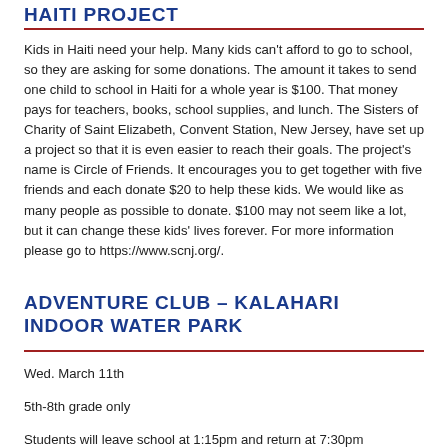HAITI PROJECT
Kids in Haiti need your help. Many kids can't afford to go to school, so they are asking for some donations. The amount it takes to send one child to school in Haiti for a whole year is $100. That money pays for teachers, books, school supplies, and lunch. The Sisters of Charity of Saint Elizabeth, Convent Station, New Jersey, have set up a project so that it is even easier to reach their goals. The project's name is Circle of Friends. It encourages you to get together with five friends and each donate $20 to help these kids. We would like as many people as possible to donate. $100 may not seem like a lot, but it can change these kids' lives forever. For more information please go to https://www.scnj.org/.
ADVENTURE CLUB – KALAHARI INDOOR WATER PARK
Wed. March 11th
5th-8th grade only
Students will leave school at 1:15pm and return at 7:30pm